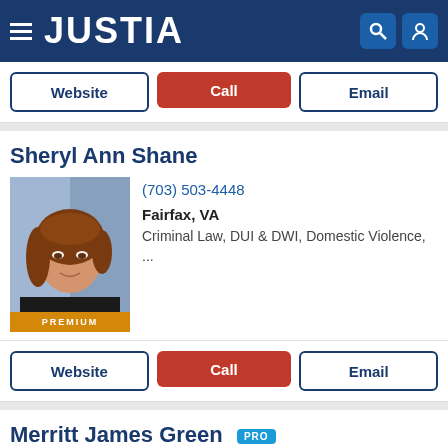JUSTIA
Website | Call | Email
Sheryl Ann Shane
[Figure (photo): Professional headshot of attorney Sheryl Ann Shane, a woman with long auburn hair in a dark blazer, with PREMIUM badge]
(703) 503-4448
Fairfax, VA
Criminal Law, DUI & DWI, Domestic Violence, ...
Website | Call | Email
Merritt James Green PRO
[Figure (photo): Professional headshot of attorney Merritt James Green, a man with light hair and glasses in a dark suit]
McLean, VA
(703) 556-0411
Business Law, Employment Law, Divorce, Fami...